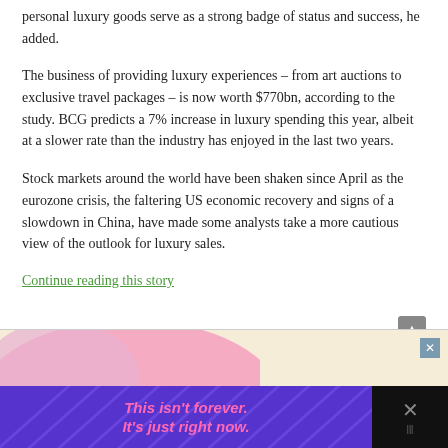personal luxury goods serve as a strong badge of status and success, he added.
The business of providing luxury experiences – from art auctions to exclusive travel packages – is now worth $770bn, according to the study. BCG predicts a 7% increase in luxury spending this year, albeit at a slower rate than the industry has enjoyed in the last two years.
Stock markets around the world have been shaken since April as the eurozone crisis, the faltering US economic recovery and signs of a slowdown in China, have made some analysts take a more cautious view of the outlook for luxury sales.
Continue reading this story
[Figure (other): Advertisement banner at bottom of page with purple background and text 'This isn't forever. It's just right now.' with a close button]